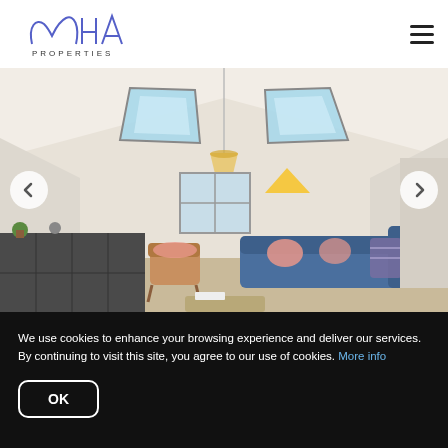[Figure (logo): MHA Properties logo — stylized MHA monogram in blue/purple with PROPERTIES text below]
[Figure (photo): Interior loft room with vaulted white ceiling, two large skylight windows, pendant light, blue sofa with pink cushions, mid-century chair, and shelving unit. Navigation arrows on left and right sides.]
We use cookies to enhance your browsing experience and deliver our services. By continuing to visit this site, you agree to our use of cookies. More info
OK